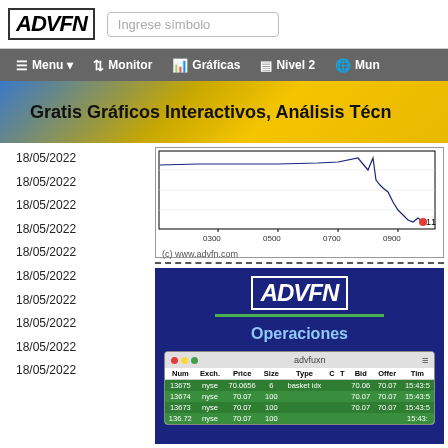[Figure (logo): ADVFN logo and search bar with 'Ingrese símbolo' placeholder]
[Figure (screenshot): Navigation bar with Menu, Monitor, Gráficas, Nivel 2, Mun options]
[Figure (screenshot): Banner: Gratis Gráficos Interactivos, Análisis Técn...]
18/05/2022
18/05/2022
18/05/2022
[Figure (line-chart): Stock price line chart with x-axis labels 0300, 0500, 0700, 0900 and value 113 marked. Copyright (c) www.advfn.com]
18/05/2022
18/05/2022
18/05/2022
18/05/2022
[Figure (screenshot): ADVFN Operaciones promo with trades table showing Num, Exch, Price, Size, Type, C, T, Bid, Offer, Tim columns with green rows]
18/05/2022
18/05/2022
18/05/2022